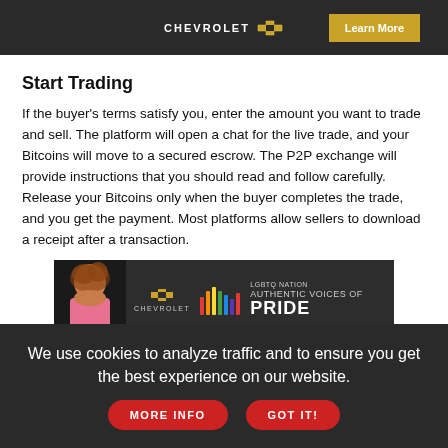[Figure (screenshot): Chevrolet advertisement banner — dark background with Chevrolet logo and 'Learn More' gold button]
Start Trading
If the buyer's terms satisfy you, enter the amount you want to trade and sell. The platform will open a chat for the live trade, and your Bitcoins will move to a secured escrow. The P2P exchange will provide instructions that you should read and follow carefully. Release your Bitcoins only when the buyer completes the trade, and you get the payment. Most platforms allow sellers to download a receipt after a transaction.
[Figure (screenshot): Chevrolet LGBTQ Nation 'Authentic Voices of Pride' advertisement banner — dark background with person on left, Chevrolet logo, rainbow equalizer bars, and PRIDE text]
Drop a Feedback
Once you've sold your Bitcoins, leave the buyer feedback. Most
We use cookies to analyze traffic and to ensure you get the best experience on our website.